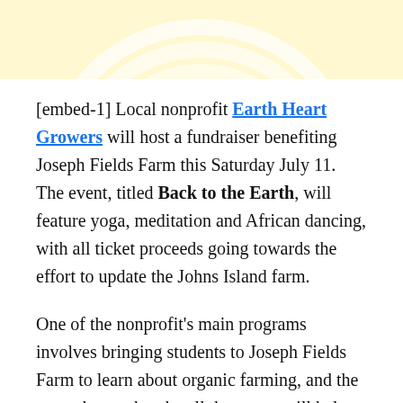[Figure (illustration): Top portion of a stylized sun illustration with yellow and light blue concentric arcs on a pale yellow background, partially cropped at the top of the page.]
[embed-1] Local nonprofit Earth Heart Growers will host a fundraiser benefiting Joseph Fields Farm this Saturday July 11. The event, titled Back to the Earth, will feature yoga, meditation and African dancing, with all ticket proceeds going towards the effort to update the Johns Island farm.
One of the nonprofit's main programs involves bringing students to Joseph Fields Farm to learn about organic farming, and the group hopes that the all day event will help further connect locals to Joseph and Helen Fields, who own the 50-acre